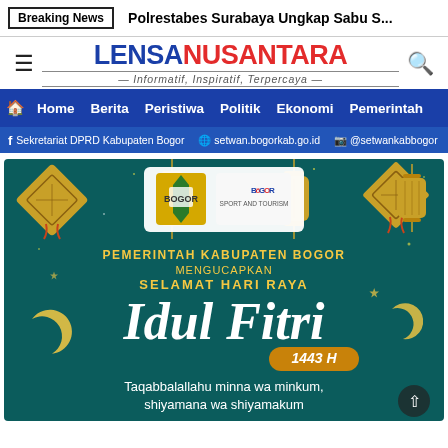Breaking News | Polrestabes Surabaya Ungkap Sabu S...
[Figure (logo): Lensa Nusantara logo with tagline Informatif, Inspiratif, Terpercaya]
Home | Berita | Peristiwa | Politik | Ekonomi | Pemerintah
Sekretariat DPRD Kabupaten Bogor | setwan.bogorkab.go.id | @setwankabbogor
[Figure (illustration): Eid Mubarak greeting card from Pemerintah Kabupaten Bogor. Teal background with golden lanterns and ketupat decorations. Text: PEMERINTAH KABUPATEN BOGOR MENGUCAPKAN SELAMAT HARI RAYA Idul Fitri 1443 H. Taqabbalallahu minna wa minkum, shiyamana wa shiyamakum. Logos of Kabupaten Bogor and Bogor Sport and Tourism shown.]